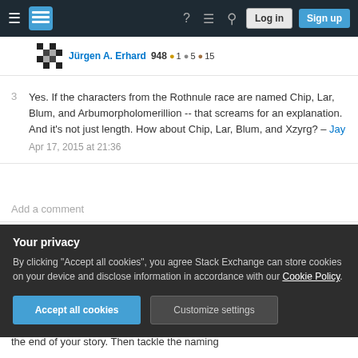Stack Exchange navigation bar with hamburger menu, logo, help, chat, search icons, and Log in / Sign up buttons
Jürgen A. Erhard 948 ● 1 ● 5 ● 15
3  Yes. If the characters from the Rothnule race are named Chip, Lar, Blum, and Arbumorpholomerillion -- that screams for an explanation. And it's not just length. How about Chip, Lar, Blum, and Xzyrg? – Jay  Apr 17, 2015 at 21:36
Add a comment
Another writer friend of mine went through NaNoWriMo last year writing furiously to make her...
Your privacy
By clicking "Accept all cookies", you agree Stack Exchange can store cookies on your device and disclose information in accordance with our Cookie Policy.
the end of your story. Then tackle the naming...